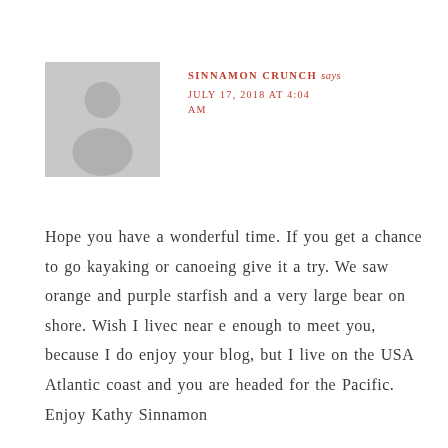[Figure (illustration): Grey placeholder avatar silhouette (person icon) in a square background]
SINNAMON CRUNCH says
JULY 17, 2018 AT 4:04 AM
Hope you have a wonderful time. If you get a chance to go kayaking or canoeing give it a try. We saw orange and purple starfish and a very large bear on shore. Wish I livec near e enough to meet you, because I do enjoy your blog, but I live on the USA Atlantic coast and you are headed for the Pacific. Enjoy Kathy Sinnamon